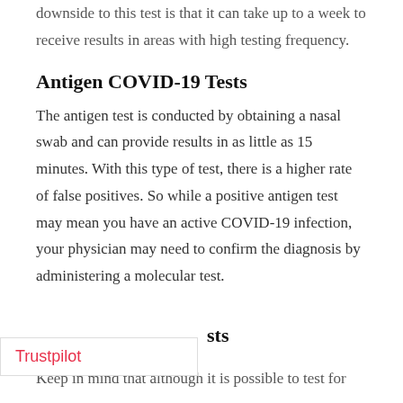downside to this test is that it can take up to a week to receive results in areas with high testing frequency.
Antigen COVID-19 Tests
The antigen test is conducted by obtaining a nasal swab and can provide results in as little as 15 minutes. With this type of test, there is a higher rate of false positives. So while a positive antigen test may mean you have an active COVID-19 infection, your physician may need to confirm the diagnosis by administering a molecular test.
ts
Keep in mind that although it is possible to test for
[Figure (other): Trustpilot overlay widget showing the word 'Trustpilot' in red/pink text on a white background with a border]